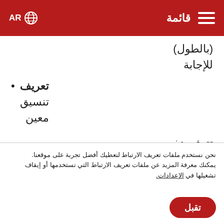قائمة AR
(بالطول)
للإجابة
تعريف
تنسيق
معين
تتوفر هذه الخيارات في لوحة خصائص الشكل...
نحن نستخدم ملفات تعريف الارتباط لنعطيك أفضل تجربة على موقعنا. يمكنك معرفة المزيد عن ملفات تعريف الارتباط التي نستخدمها أو إيقاف تشغيلها في الإعدادات.